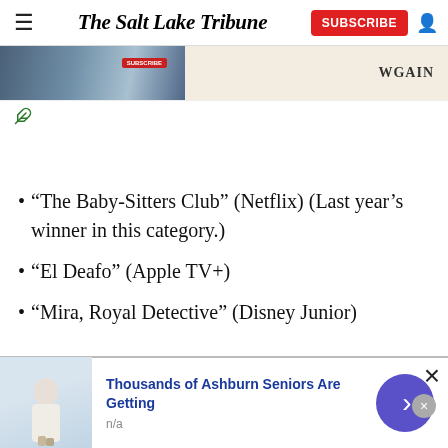The Salt Lake Tribune
[Figure (screenshot): Advertisement banner strip with photo and text]
“The Baby-Sitters Club” (Netflix) (Last year’s winner in this category.)
“El Deafo” (Apple TV+)
“Mira, Royal Detective” (Disney Junior)
[Figure (screenshot): Bottom advertisement: Thousands of Ashburn Seniors Are Getting, n/a]